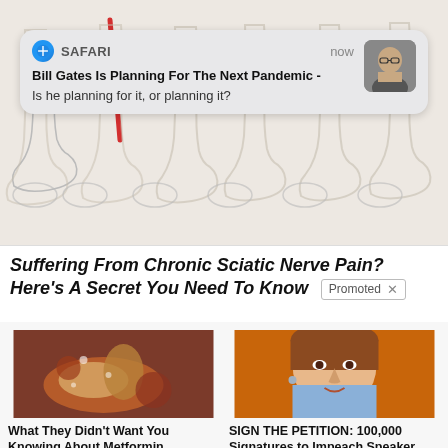[Figure (screenshot): Safari browser notification banner showing headline 'Bill Gates Is Planning For The Next Pandemic - Is he planning for it, or planning it?' with thumbnail of a man in glasses]
[Figure (illustration): Strip of illustrated human feet/legs in various positions, one with a red highlighted nerve/pain indicator]
Suffering From Chronic Sciatic Nerve Pain? Here's A Secret You Need To Know
Promoted ×
[Figure (photo): Close-up medical illustration of internal organs, possibly intestines/pancreas with reddish-brown coloring]
What They Didn't Want You Knowing About Metformin
207,158
[Figure (photo): Portrait photo of Nancy Pelosi on an orange background]
SIGN THE PETITION: 100,000 Signatures to Impeach Speaker Nancy Pelosi
56,062